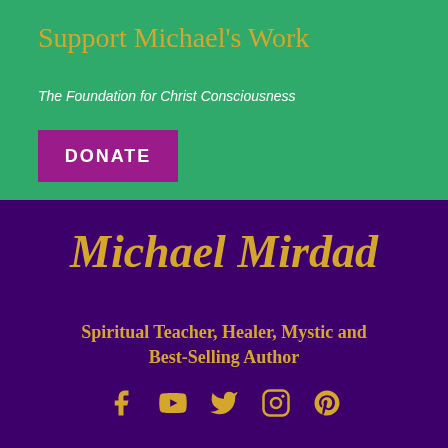Support Michael's Work
The Foundation for Christ Consciousness
DONATE
Michael Mirdad
Spiritual Teacher, Healer, Mystic and Best-Selling Author
[Figure (infographic): Social media icons: Facebook, YouTube, Twitter, Instagram, Pinterest]